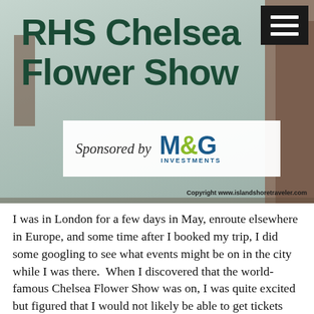[Figure (photo): Photograph of an RHS Chelsea Flower Show banner/sign on a light teal fabric background with brick building visible. The banner reads 'RHS Chelsea Flower Show' in large dark green bold text, with a white sponsor box below reading 'Sponsored by M&G Investments'. A black hamburger menu icon is visible in the top right. Copyright www.islandshoretraveler.com appears at bottom right.]
I was in London for a few days in May, enroute elsewhere in Europe, and some time after I booked my trip, I did some googling to see what events might be on in the city while I was there.  When I discovered that the world-famous Chelsea Flower Show was on, I was quite excited but figured that I would not likely be able to get tickets which, by that time, had been on sale for some period of time.  I couldn't believe when I was able to successfully book tickets online for an early